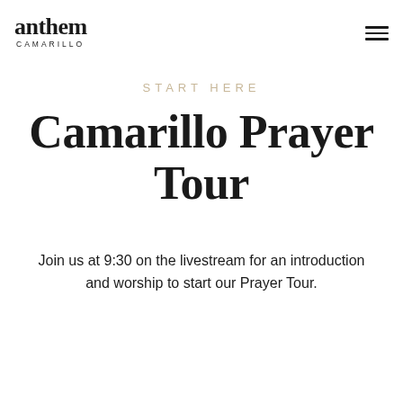anthem CAMARILLO
START HERE
Camarillo Prayer Tour
Join us at 9:30 on the livestream for an introduction and worship to start our Prayer Tour.